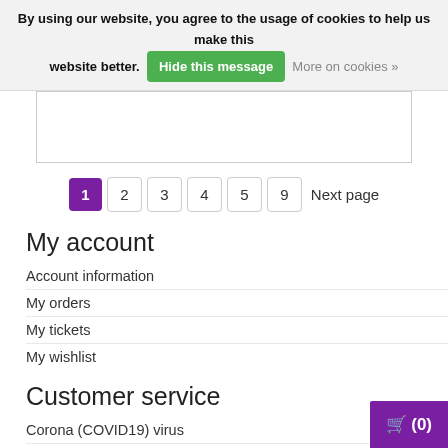By using our website, you agree to the usage of cookies to help us make this website better. Hide this message More on cookies »
[Figure (screenshot): White content box area (empty/placeholder)]
1 2 3 4 5 9 Next page
My account
Account information
My orders
My tickets
My wishlist
Customer service
Corona (COVID19) virus
About 123fysio.nl
[Figure (screenshot): Purple shopping cart button with (0) at bottom right]